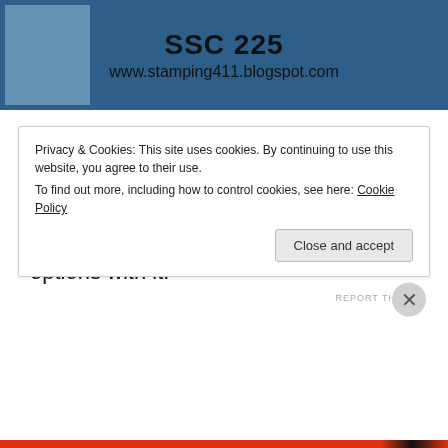[Figure (other): Banner image with blue background showing SSC 225 challenge header with text 'SSC 225' and 'www.stamping411.blogspot.com']
Well it's week two in my Stamping 411 Guest Designer month – super excited about this challenge! This sketch is awesome and there are so many options with it!
REPORT THIS AD
Privacy & Cookies: This site uses cookies. By continuing to use this website, you agree to their use.
To find out more, including how to control cookies, see here: Cookie Policy